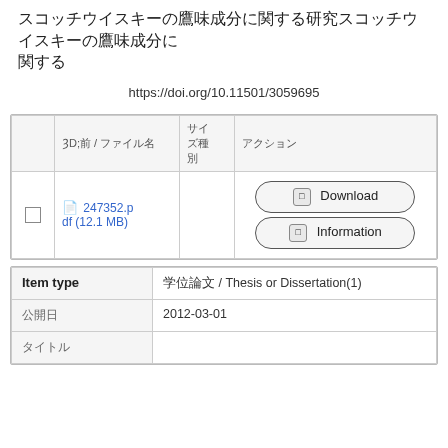（Japanese characters title）
https://doi.org/10.11501/3059695
|  | 名前 / ファイル名 | サイズ種別 | アクション |
| --- | --- | --- | --- |
| ☐ | 247352.pdf (12.1 MB) |  | Download / Information |
| Item type | 学位論文 / Thesis or Dissertation(1) |
| --- | --- |
| 公開日 | 2012-03-01 |
| タイトル |  |